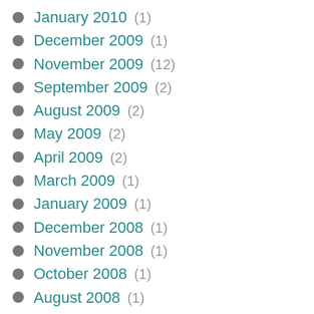January 2010 (1)
December 2009 (1)
November 2009 (12)
September 2009 (2)
August 2009 (2)
May 2009 (2)
April 2009 (2)
March 2009 (1)
January 2009 (1)
December 2008 (1)
November 2008 (1)
October 2008 (1)
August 2008 (1)
July 2008 (2)
May 2008 (1)